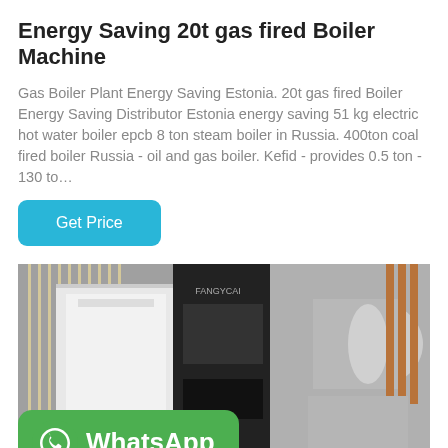Energy Saving 20t gas fired Boiler Machine
Gas Boiler Plant Energy Saving Estonia. 20t gas fired Boiler Energy Saving Distributor Estonia energy saving 51 kg electric hot water boiler epcb 8 ton steam boiler in Russia. 400ton coal fired boiler Russia - oil and gas boiler. Kefid - provides 0.5 ton - 130 to...
[Figure (photo): Industrial gas-fired boiler machines in an industrial facility. Large white and black boiler units with piping and copper tubes visible. WhatsApp button overlay at bottom left.]